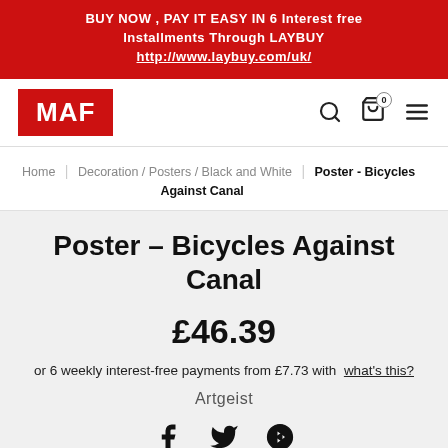BUY NOW , PAY IT EASY IN 6 Interest free Installments Through LAYBUY http://www.laybuy.com/uk/
[Figure (logo): MAF logo — white text on red background]
Home / Decoration / Posters / Black and White / Poster - Bicycles Against Canal
Poster - Bicycles Against Canal
£46.39
or 6 weekly interest-free payments from £7.73 with what's this?
Artgeist